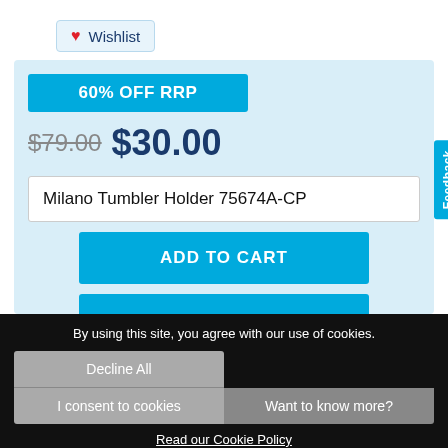♡ Wishlist
60% OFF RRP
$79.00 $30.00
Milano Tumbler Holder 75674A-CP
ADD TO CART
Feedback
By using this site, you agree with our use of cookies.
Decline All
I consent to cookies
Want to know more?
Read our Cookie Policy